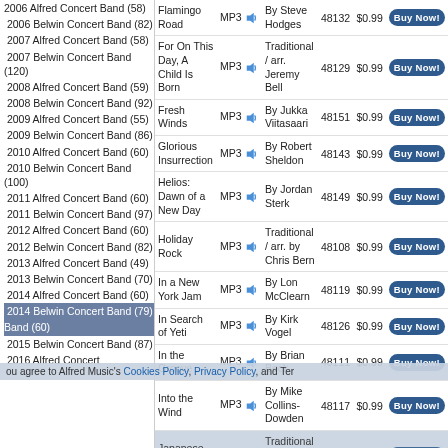2006 Alfred Concert Band (58)
2006 Belwin Concert Band (82)
2007 Alfred Concert Band (58)
2007 Belwin Concert Band (120)
2008 Alfred Concert Band (59)
2008 Belwin Concert Band (92)
2009 Alfred Concert Band (55)
2009 Belwin Concert Band (86)
2010 Alfred Concert Band (60)
2010 Belwin Concert Band (100)
2011 Alfred Concert Band (60)
2011 Belwin Concert Band (97)
2012 Alfred Concert Band (60)
2012 Belwin Concert Band (82)
2013 Alfred Concert Band (49)
2013 Belwin Concert Band (70)
2014 Alfred Concert Band (60)
2014 Belwin Concert Band (79)
2015 Alfred Concert Band (60)
2015 Belwin Concert Band (87)
2016 Alfred Concert
| Title | Format |  | Composer | SKU | Price |  |
| --- | --- | --- | --- | --- | --- | --- |
| Flamingo Road | MP3 |  | By Steve Hodges | 48132 | $0.99 | Buy Now! |
| For On This Day, A Child Is Born | MP3 |  | Traditional / arr. Jeremy Bell | 48129 | $0.99 | Buy Now! |
| Fresh Winds | MP3 |  | By Jukka Viitasaari | 48151 | $0.99 | Buy Now! |
| Glorious Insurrection | MP3 |  | By Robert Sheldon | 48143 | $0.99 | Buy Now! |
| Helios: Dawn of a New Day | MP3 |  | By Jordan Sterk | 48149 | $0.99 | Buy Now! |
| Holiday Rock | MP3 |  | Traditional / arr. by Chris Bern | 48108 | $0.99 | Buy Now! |
| In a New York Jam | MP3 |  | By Lon McClearn | 48119 | $0.99 | Buy Now! |
| In Search of Yeti | MP3 |  | By Kirk Vogel | 48126 | $0.99 | Buy Now! |
| In the Groove | MP3 |  | By Brian Beck | 48111 | $0.99 | Buy Now! |
| Into the Wind | MP3 |  | By Mike Collins-Dowden | 48117 | $0.99 | Buy Now! |
| Japanese War March | MP3 |  | Traditional Japanese Folk Song | 48122 | $0.99 | Buy Now! |
| Journey of the Magi | MP3 |  | Traditional / arr. Jared Barnes | 48130 | $0.99 | Buy Now! |
| Journey on | MP3 |  |  |  | $0.99 | Buy Now! |
ou agree to Alfred Music's Cookies Policy, Privacy Policy, and Ter